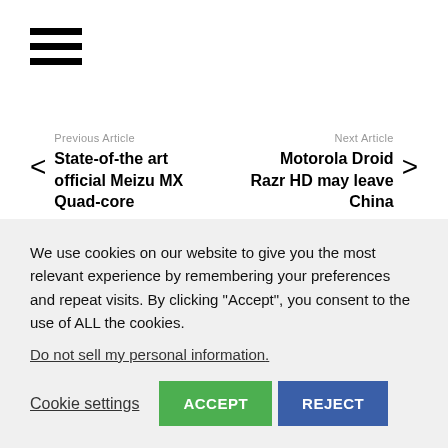[Figure (other): Hamburger menu icon with three horizontal bars]
Previous article
Next article
State-of-the art official Meizu MX Quad-core
Motorola Droid Razr HD may leave China
Live Comment
We use cookies on our website to give you the most relevant experience by remembering your preferences and repeat visits. By clicking “Accept”, you consent to the use of ALL the cookies.
Do not sell my personal information.
Cookie settings
ACCEPT
REJECT